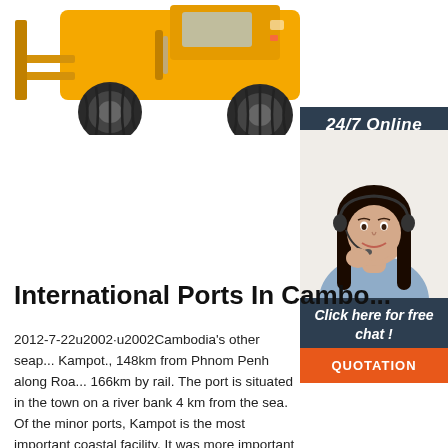[Figure (photo): Yellow heavy construction forklift / wheel loader machine photographed from a low angle on white background, showing front bucket, large tires, and cab.]
24/7 Online
[Figure (photo): Customer service representative woman with dark hair wearing a headset and light blue shirt, smiling.]
Click here for free chat !
QUOTATION
International Ports In Cambo...
2012-7-22u2002·u2002Cambodia's other seap... Kampot., 148km from Phnom Penh along Roa... 166km by rail. The port is situated in the town on a river bank 4 km from the sea. Of the minor ports, Kampot is the most important coastal facility. It was more important before 1975 when it had better facilities and was able to take vessels of up to 150 tonnes or ...